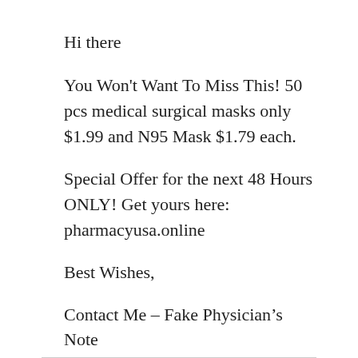Hi there
You Won't Want To Miss This! 50 pcs medical surgical masks only $1.99 and N95 Mask $1.79 each.
Special Offer for the next 48 Hours ONLY! Get yours here: pharmacyusa.online
Best Wishes,
Contact Me – Fake Physician's Note
Reply